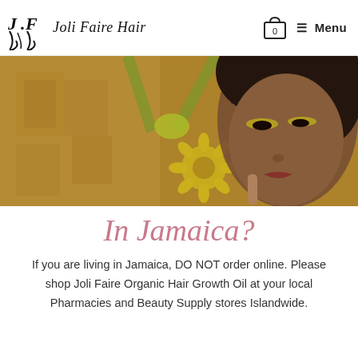Joli Faire Hair — 0 Menu
[Figure (photo): Hero banner image of a young woman with curly hair, yellow eye makeup, and a yellow flower in her hair, holding her finger to her lips. The background features a warm golden/amber tone with decorative gift box elements.]
In Jamaica?
If you are living in Jamaica, DO NOT order online. Please shop Joli Faire Organic Hair Growth Oil at your local Pharmacies and Beauty Supply stores Islandwide.